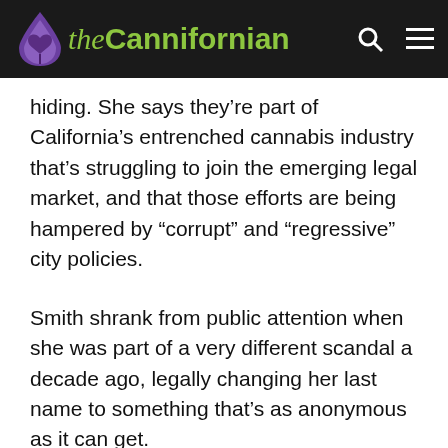the Cannifornian
hiding. She says they’re part of California’s entrenched cannabis industry that’s struggling to join the emerging legal market, and that those efforts are being hampered by “corrupt” and “regressive” city policies.
Smith shrank from public attention when she was part of a very different scandal a decade ago, legally changing her last name to something that’s as anonymous as it can get.
This time, she says she’s fighting back.